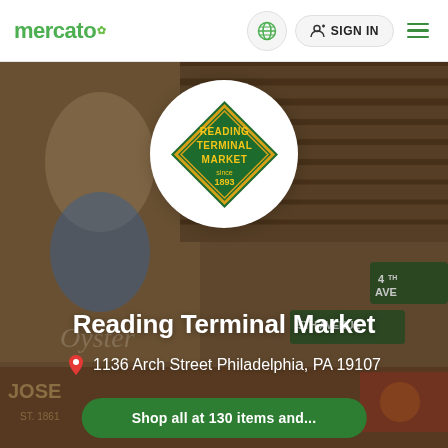mercato  SIGN IN
[Figure (screenshot): Mercato website screenshot showing Reading Terminal Market store page with illustrated market background, circular Reading Terminal Market logo (green diamond shape with yellow text, 'since 1893'), store name, address, and shop button]
Reading Terminal Market
1136 Arch Street Philadelphia, PA 19107
Shop all at 130 items and...